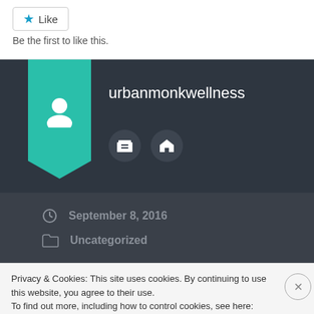[Figure (other): Like button with blue star icon]
Be the first to like this.
[Figure (other): Author profile card with teal bookmark banner showing a person icon, username 'urbanmonkwellness', and two icon buttons (archive and home) on dark background]
September 8, 2016
Uncategorized
Privacy & Cookies: This site uses cookies. By continuing to use this website, you agree to their use.
To find out more, including how to control cookies, see here: Cookie Policy
Close and accept
FOLLOW